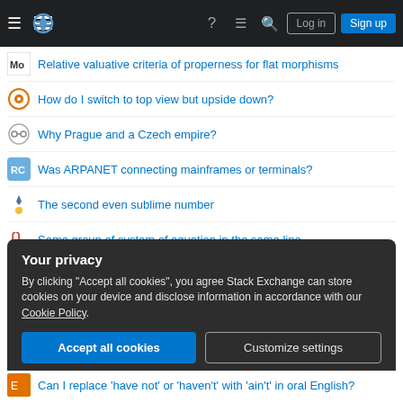Stack Exchange navigation bar with Log in and Sign up buttons
Relative valuative criteria of properness for flat morphisms
How do I switch to top view but upside down?
Why Prague and a Czech empire?
Was ARPANET connecting mainframes or terminals?
The second even sublime number
Same group of system of equation in the same line
Meaning of rejection feedback from the Annals of Mathematics
Is it safe to have a drain in the floor out to the septic tank with no trap?
Is there any prior art for Dota 2 monsters/heroes?
Your privacy
By clicking "Accept all cookies", you agree Stack Exchange can store cookies on your device and disclose information in accordance with our Cookie Policy.
Can I replace 'have not' or 'haven't' with 'ain't' in oral English?